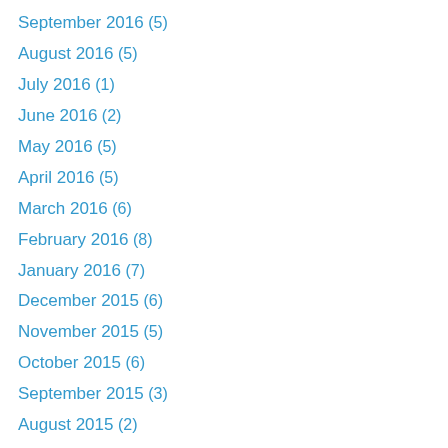September 2016 (5)
August 2016 (5)
July 2016 (1)
June 2016 (2)
May 2016 (5)
April 2016 (5)
March 2016 (6)
February 2016 (8)
January 2016 (7)
December 2015 (6)
November 2015 (5)
October 2015 (6)
September 2015 (3)
August 2015 (2)
July 2015 (4)
June 2015 (4)
May 2015 (4)
April 2015 (5)
March 2015 (6)
February 2015 (4)